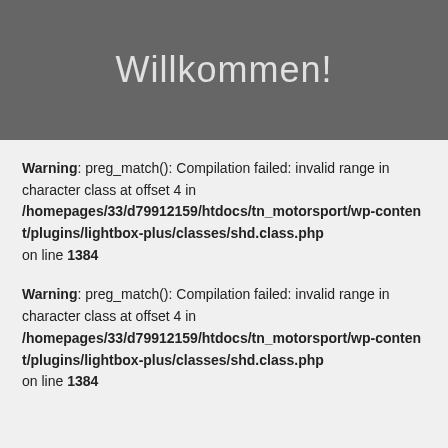Willkommen!
Warning: preg_match(): Compilation failed: invalid range in character class at offset 4 in /homepages/33/d79912159/htdocs/tn_motorsport/wp-content/plugins/lightbox-plus/classes/shd.class.php on line 1384
Warning: preg_match(): Compilation failed: invalid range in character class at offset 4 in /homepages/33/d79912159/htdocs/tn_motorsport/wp-content/plugins/lightbox-plus/classes/shd.class.php on line 1384